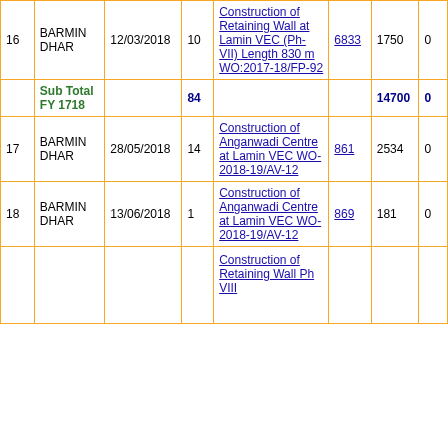| # | Location | Date | Col4 | Description | Ref | Amount | Col8 |
| --- | --- | --- | --- | --- | --- | --- | --- |
| 16 | BARMIN DHAR | 12/03/2018 | 10 | Construction of Retaining Wall at Lamin VEC (Ph-VII) Length 830 m WO:2017-18/FP-92 | 6833 | 1750 | 0 |
| Sub Total FY 1718 |  |  | 84 |  |  | 14700 | 0 |
| 17 | BARMIN DHAR | 28/05/2018 | 14 | Construction of Anganwadi Centre at Lamin VEC WO-2018-19/AV-12 | 861 | 2534 | 0 |
| 18 | BARMIN DHAR | 13/06/2018 | 1 | Construction of Anganwadi Centre at Lamin VEC WO-2018-19/AV-12 | 869 | 181 | 0 |
|  |  |  |  | Construction of Retaining Wall Ph VIII |  |  |  |